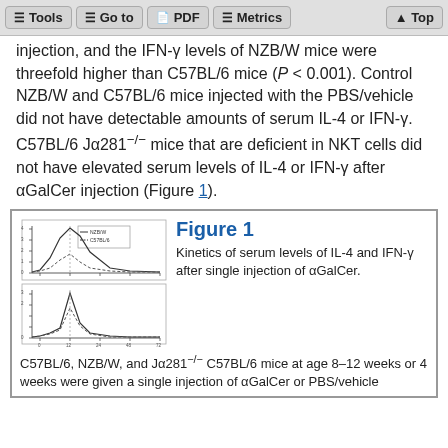Tools   Go to   PDF   Metrics   Top
injection, and the IFN-γ levels of NZB/W mice were threefold higher than C57BL/6 mice (P < 0.001). Control NZB/W and C57BL/6 mice injected with the PBS/vehicle did not have detectable amounts of serum IL-4 or IFN-γ. C57BL/6 Jα281−/− mice that are deficient in NKT cells did not have elevated serum levels of IL-4 or IFN-γ after αGalCer injection (Figure 1).
[Figure (continuous-plot): Line/bar chart showing kinetics of serum IL-4 and IFN-γ levels after αGalCer injection in two panels, with a legend box in the upper panel.]
Figure 1
Kinetics of serum levels of IL-4 and IFN-γ after single injection of αGalCer. C57BL/6, NZB/W, and Jα281−/− C57BL/6 mice at age 8–12 weeks or 4 weeks were given a single injection of αGalCer or PBS/vehicle.